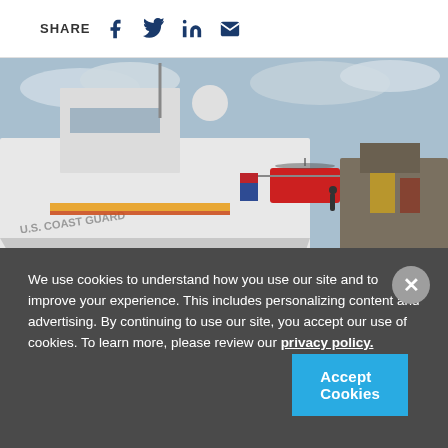SHARE [facebook] [twitter] [linkedin] [email]
[Figure (photo): U.S. Coast Guard vessel docked at port with a helicopter on deck, American flag visible, crew members on deck, white hull with 'U.S. COAST GUARD' text.]
We use cookies to understand how you use our site and to improve your experience. This includes personalizing content and advertising. By continuing to use our site, you accept our use of cookies. To learn more, please review our privacy policy.
Accept Cookies